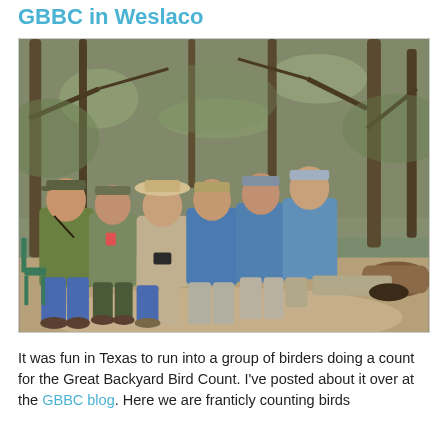GBBC in Weslaco
[Figure (photo): Group of birders sitting on logs and chairs along a wooded trail in Texas, wearing caps and binoculars, participating in the Great Backyard Bird Count.]
It was fun in Texas to run into a group of birders doing a count for the Great Backyard Bird Count. I've posted about it over at the GBBC blog. Here we are franticly counting birds